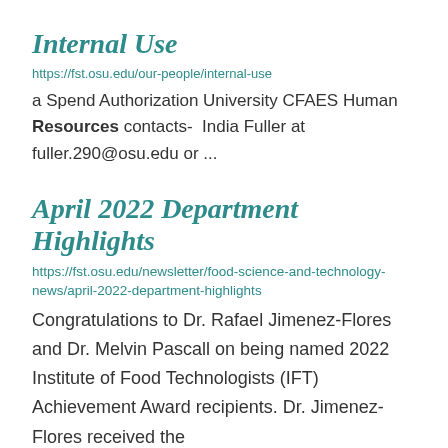Internal Use
https://fst.osu.edu/our-people/internal-use
a Spend Authorization University CFAES Human Resources contacts-  India Fuller at fuller.290@osu.edu or ...
April 2022 Department Highlights
https://fst.osu.edu/newsletter/food-science-and-technology-news/april-2022-department-highlights
Congratulations to Dr. Rafael Jimenez-Flores and Dr. Melvin Pascall on being named 2022 Institute of Food Technologists (IFT) Achievement Award recipients. Dr. Jimenez-Flores received the